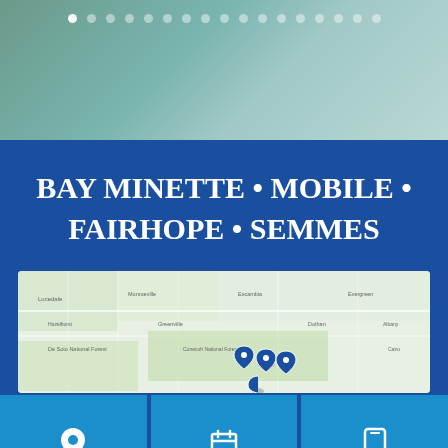[Figure (other): Top gradient banner with green-teal gradient and row of navigation dots]
BAY MINETTE • MOBILE • FAIRHOPE • SEMMES
[Figure (map): Google Maps view showing locations of Bay Minette, Mobile, Fairhope, and Semmes in Alabama with map pin markers]
[Figure (other): Three teal buttons at bottom: location pin icon, calendar icon, phone icon; with a dark scroll-to-top circular button overlapping the right side]